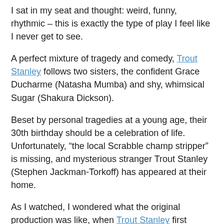I sat in my seat and thought: weird, funny, rhythmic – this is exactly the type of play I feel like I never get to see.
A perfect mixture of tragedy and comedy, Trout Stanley follows two sisters, the confident Grace Ducharme (Natasha Mumba) and shy, whimsical Sugar (Shakura Dickson).
Beset by personal tragedies at a young age, their 30th birthday should be a celebration of life. Unfortunately, “the local Scrabble champ stripper” is missing, and mysterious stranger Trout Stanley (Stephen Jackman-Torkoff) has appeared at their home.
As I watched, I wondered what the original production was like, when Trout Stanley first premiered at Factory Theatre 14 years ago.
I suspect in someone else’s hands, this show might have worn the early 2000’s a bit too awkwardly. There are some off-